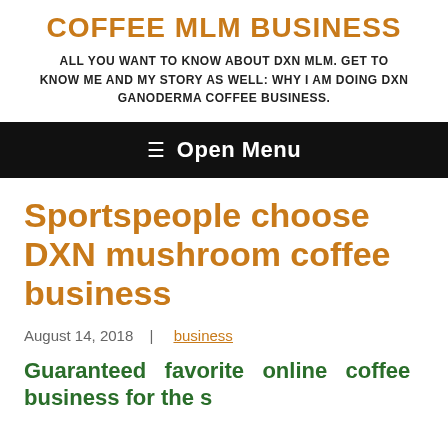COFFEE MLM BUSINESS
ALL YOU WANT TO KNOW ABOUT DXN MLM. GET TO KNOW ME AND MY STORY AS WELL: WHY I AM DOING DXN GANODERMA COFFEE BUSINESS.
☰ Open Menu
Sportspeople choose DXN mushroom coffee business
August 14, 2018  |  business
Guaranteed favorite online coffee business for the s...